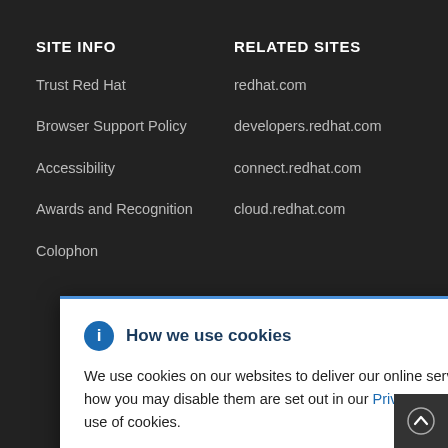SITE INFO
Trust Red Hat
Browser Support Policy
Accessibility
Awards and Recognition
Colophon
RELATED SITES
redhat.com
developers.redhat.com
connect.redhat.com
cloud.redhat.com
How we use cookies — We use cookies on our websites to deliver our online services. Details about how we use cookies and how you may disable them are set out in our Privacy Statement. By using this website you agree to our use of cookies.